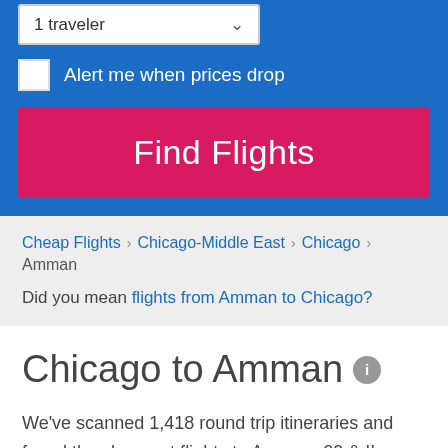1 traveler
Alert me when prices drop
Find Flights
Cheap Flights > Chicago-Middle East > Chicago > Amman
Did you mean flights from Amman to Chicago?
Chicago to Amman
We've scanned 1,418 round trip itineraries and found the cheapest flights to Amman. 00 & !! frequently offer the best deals to Amman flights, or select your